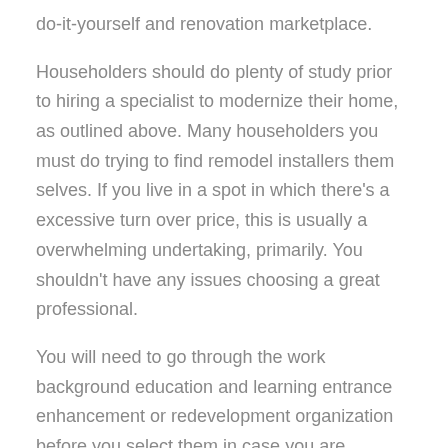do-it-yourself and renovation marketplace.
Householders should do plenty of study prior to hiring a specialist to modernize their home, as outlined above. Many householders you must do trying to find remodel installers them selves. If you live in a spot in which there's a excessive turn over price, this is usually a overwhelming undertaking, primarily. You shouldn't have any issues choosing a great professional.
You will need to go through the work background education and learning entrance enhancement or redevelopment organization before you select them in case you are sufficiently fortunate to get stay in a